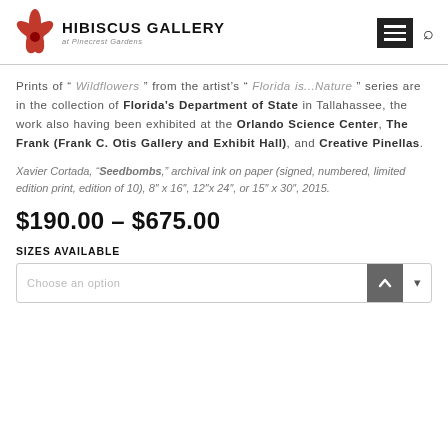HIBISCUS GALLERY at Pinecrest Gardens
Prints of “ Wildflowers ” from the artist’s “ Florida is...Nature” series are in the collection of Florida’s Department of State in Tallahassee, the work also having been exhibited at the Orlando Science Center, The Frank (Frank C. Otis Gallery and Exhibit Hall), and Creative Pinellas.
Xavier Cortada, “Seedbombs,” archival ink on paper (signed, numbered, limited edition print, edition of 10), 8″ x 16″, 12″x 24″, or 15″ x 30″, 2015.
$190.00 – $675.00
SIZES AVAILABLE
Choose an option